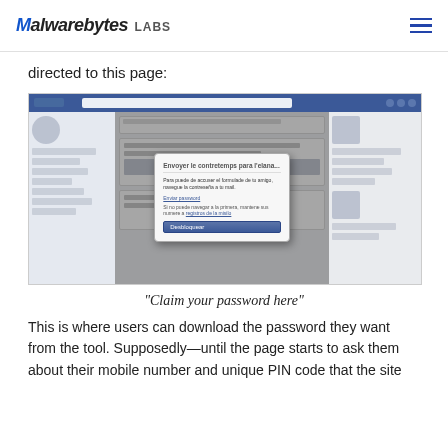Malwarebytes LABS
directed to this page:
[Figure (screenshot): A blurred screenshot of a Facebook page with a modal dialog box overlaid, showing a password recovery prompt. The modal reads 'Envoyer le contretemps para l'elana...' with a link 'Enviar password' and a 'Desbloquear' button.]
"Claim your password here"
This is where users can download the password they want from the tool. Supposedly—until the page starts to ask them about their mobile number and unique PIN code that the site